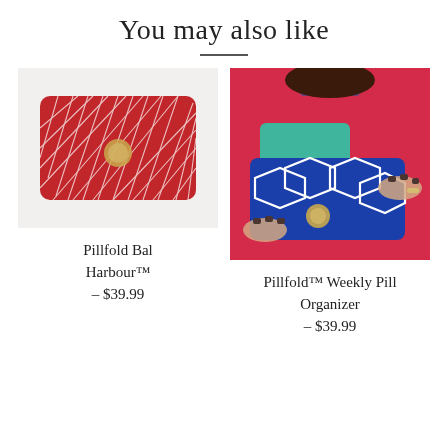You may also like
[Figure (photo): Red and white leaf-patterned pillfold pouch with a circular gold snap, photographed on a light background.]
[Figure (photo): Woman in a red top holding a blue and white geometric patterned pillfold weekly pill organizer with teal interior, showing gold snap.]
Pillfold Bal Harbour™  –  $39.99
Pillfold™ Weekly Pill Organizer  –  $39.99